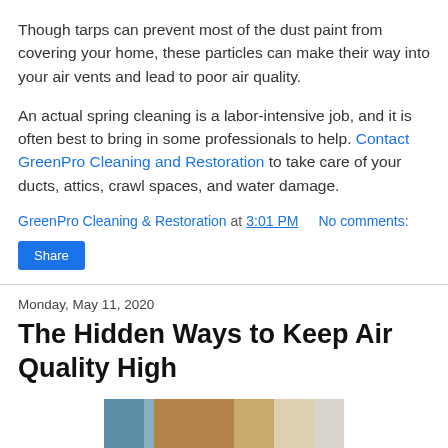Though tarps can prevent most of the dust paint from covering your home, these particles can make their way into your air vents and lead to poor air quality.
An actual spring cleaning is a labor-intensive job, and it is often best to bring in some professionals to help. Contact GreenPro Cleaning and Restoration to take care of your ducts, attics, crawl spaces, and water damage.
GreenPro Cleaning & Restoration at 3:01 PM   No comments:
Share
Monday, May 11, 2020
The Hidden Ways to Keep Air Quality High
[Figure (photo): Partial image of an interior room, shown at the bottom of the page, cropped.]